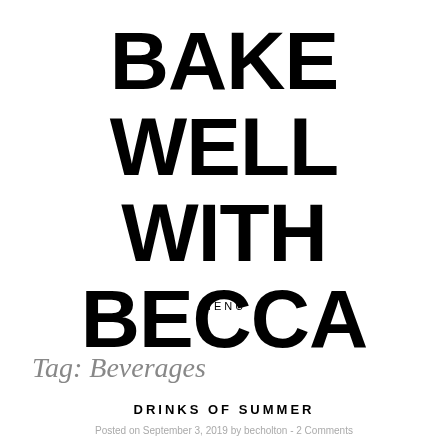BAKE WELL WITH BECCA
MENU
Tag: Beverages
DRINKS OF SUMMER
Posted on September 3, 2019 by becholton - 2 Comments